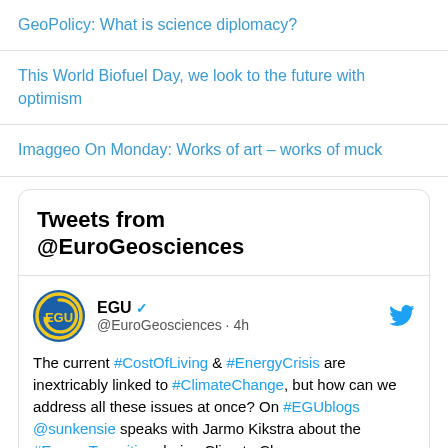GeoPolicy: What is science diplomacy?
This World Biofuel Day, we look to the future with optimism
Imaggeo On Monday: Works of art – works of muck
[Figure (screenshot): Embedded Twitter/X widget showing tweets from @EuroGeosciences. EGU verified account tweet: 'The current #CostOfLiving & #EnergyCrisis are inextricably linked to #ClimateChange, but how can we address all these issues at once? On #EGUblogs @sunkensie speaks with Jarmo Kikstra about the #EnergyTransition during Climate Change.']